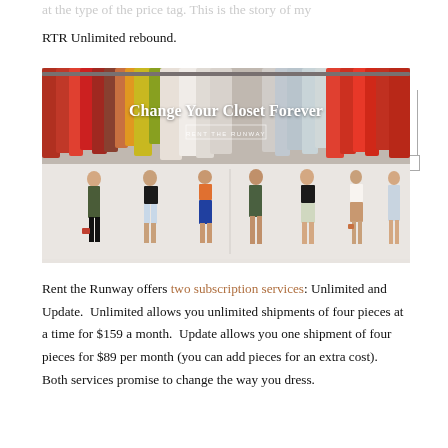...at the type of the price tag. This is the story of my RTR Unlimited rebound.
[Figure (photo): Rent the Runway promotional image. Top half shows a clothing rack with colorful garments hanging, overlaid with white text 'Change Your Closet Forever' and a small subscript button. Bottom half shows seven female models wearing various fashion outfits.]
Rent the Runway offers two subscription services: Unlimited and Update.  Unlimited allows you unlimited shipments of four pieces at a time for $159 a month.  Update allows you one shipment of four pieces for $89 per month (you can add pieces for an extra cost).  Both services promise to change the way you dress.